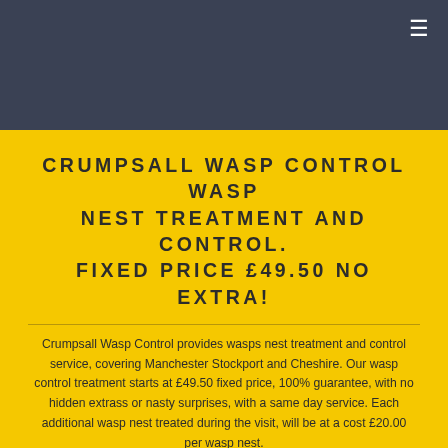≡
CRUMPSALL WASP CONTROL WASP NEST TREATMENT AND CONTROL. FIXED PRICE £49.50 NO EXTRA!
Crumpsall Wasp Control provides wasps nest treatment and control service, covering Manchester Stockport and Cheshire. Our wasp control treatment starts at £49.50 fixed price, 100% guarantee, with no hidden extrass or nasty surprises, with a same day service. Each additional wasp nest treated during the visit, will be at a cost £20.00 per wasp nest.